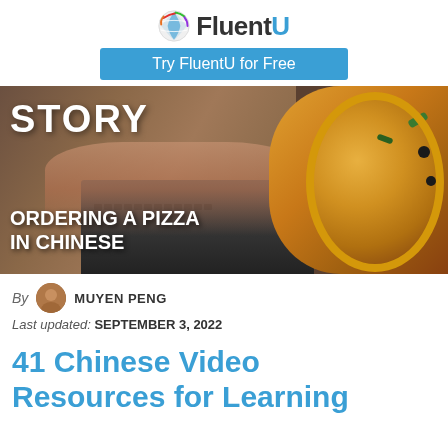FluentU — Try FluentU for Free
[Figure (photo): Hero image with text overlays: 'STORY' and 'ORDERING A PIZZA IN CHINESE', showing a woman typing on a laptop on the left and a pizza on the right]
By MUYEN PENG
Last updated: SEPTEMBER 3, 2022
41 Chinese Video Resources for Learning